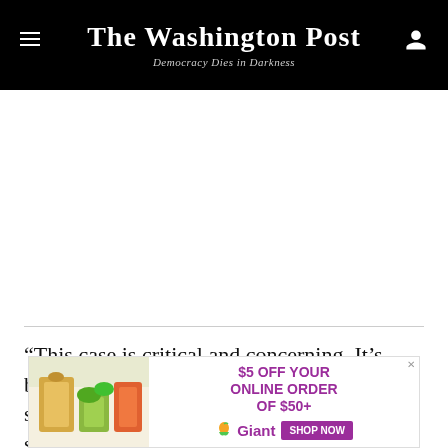The Washington Post — Democracy Dies in Darkness
“This case is critical and concerning. It’s been a years-long effort to tie the hands of states that would like to pursue common-sense, and in my opinion
[Figure (other): Advertisement for Giant grocery store: $5 OFF YOUR ONLINE ORDER OF $50+ with grocery product image on left and Giant logo with SHOP NOW button on right]